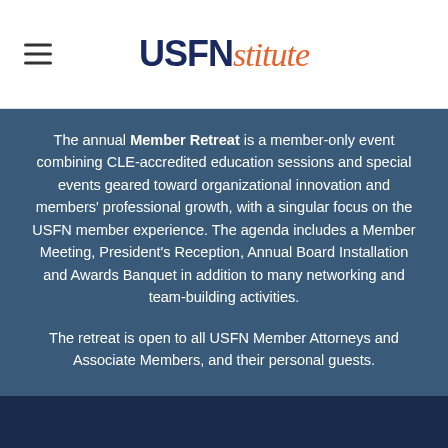USFNstitute
The annual Member Retreat is a member-only event combining CLE-accredited education sessions and special events geared toward organizational innovation and members' professional growth, with a singular focus on the USFN member experience. The agenda includes a Member Meeting, President's Reception, Annual Board Installation and Awards Banquet in addition to many networking and team-building activities.
The retreat is open to all USFN Member Attorneys and Associate Members, and their personal guests.